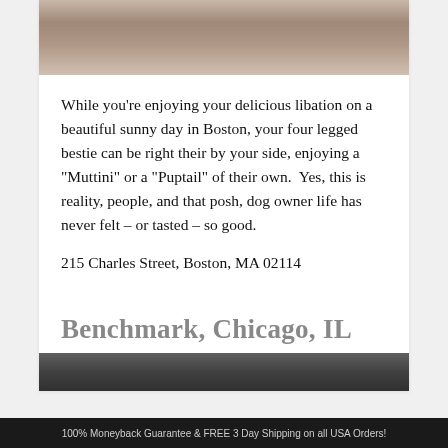[Figure (photo): Photo of dogs and people at a pet-friendly bar/restaurant, viewed from above showing dogs on a floor with people's legs visible]
While you're enjoying your delicious libation on a beautiful sunny day in Boston, your four legged bestie can be right their by your side, enjoying a "Muttini" or a "Puptail" of their own. Yes, this is reality, people, and that posh, dog owner life has never felt – or tasted – so good.
215 Charles Street, Boston, MA 02114
Benchmark, Chicago, IL
[Figure (photo): Partial photo at bottom of card, appears to show an outdoor scene]
100% Moneyback Guarantee & FREE 3 Day Shipping on all USA Orders!